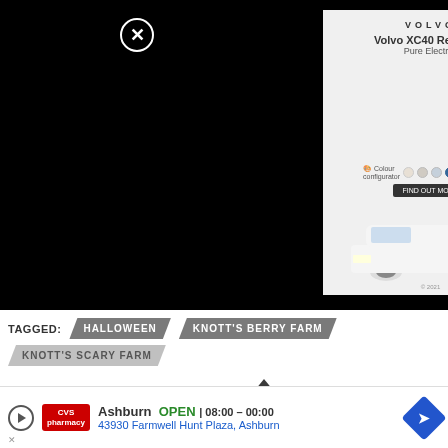[Figure (photo): Volvo XC40 Recharge advertisement showing the car with color selector options]
TAGGED:  HALLOWEEN  KNOTT'S BERRY FARM  KNOTT'S SCARY FARM
Mike Celestino
After growing up on Long Island, Mike has spent his adult life in Southern California. He's been fascinated by theme parks since a
[Figure (photo): Bottom banner ad for CVS Pharmacy in Ashburn, OPEN 08:00 - 00:00, 43930 Farmwell Hunt Plaza, Ashburn]